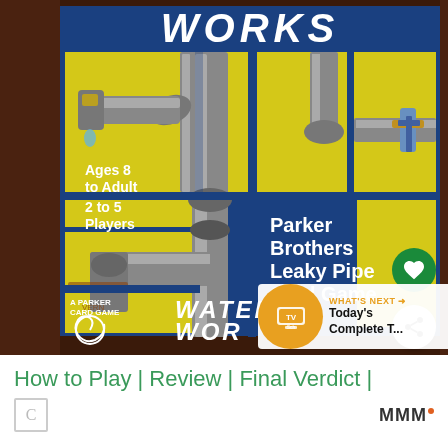[Figure (photo): Photo of a Parker Brothers Water Works 'Leaky Pipe Card Game' box, showing a blue and yellow box with images of pipes and fittings. Text on box reads: 'Ages 8 to Adult', '2 to 5 Players', 'Parker Brothers Leaky Pipe Card Game', 'Water Works', 'A Parker Card Game'. Social media overlay buttons (heart/favorite, share) visible on right side. A 'What's Next' TV schedule widget appears in bottom-right corner.]
How to Play | Review | Final Verdict |